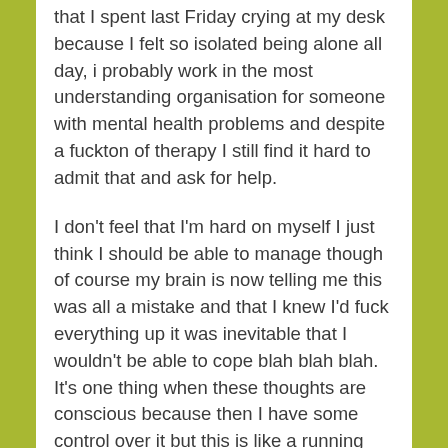that I spent last Friday crying at my desk because I felt so isolated being alone all day, i probably work in the most understanding organisation for someone with mental health problems and despite a fuckton of therapy I still find it hard to admit that and ask for help.
I don't feel that I'm hard on myself I just think I should be able to manage though of course my brain is now telling me this was all a mistake and that I knew I'd fuck everything up it was inevitable that I wouldn't be able to cope blah blah blah. It's one thing when these thoughts are conscious because then I have some control over it but this is like a running commentary in the back of my mind it's not me deliberately putting myself down but it won't stop and I don't know what to do to shut it up. I'm still working out boundaries and what is the right amount to share with people, I feel like I overshared yesterday to someone who isn't my manage who doesn't need to deal with my